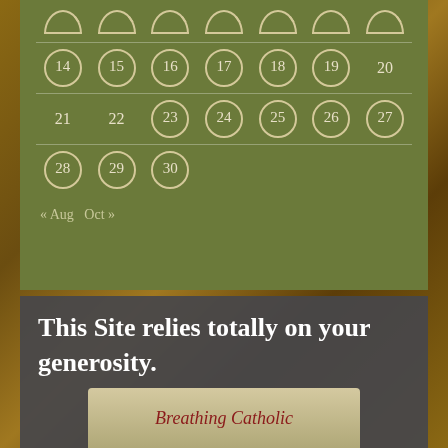[Figure (other): Calendar widget with olive green background showing dates 14-30 with circular date markers, and navigation links for Aug and Oct]
<< Aug  Oct >>
This Site relies totally on your generosity.
[Figure (photo): Book cover image showing angels in an archway with script text reading 'Breathing Catholic']